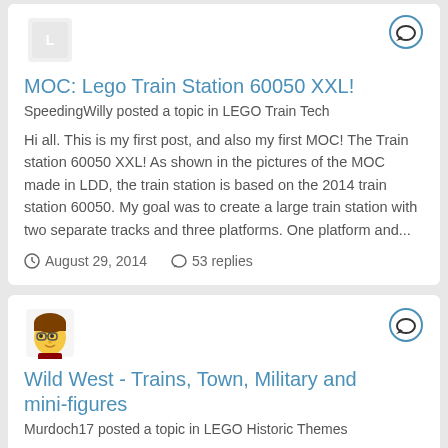MOC: Lego Train Station 60050 XXL!
SpeedingWilly posted a topic in LEGO Train Tech
Hi all. This is my first post, and also my first MOC! The Train station 60050 XXL! As shown in the pictures of the MOC made in LDD, the train station is based on the 2014 train station 60050. My goal was to create a large train station with two separate tracks and three platforms. One platform and...
August 29, 2014   53 replies
[Figure (illustration): Avatar icon with red/orange Lego-style graphic]
Wild West - Trains, Town, Military and mini-figures
Murdoch17 posted a topic in LEGO Historic Themes
Named for nearby Fort Legoredo, the town of Glencoe was first settled in 1869 by the people following the Wichita...
[Figure (illustration): Avatar icon showing cartoon character with brown hair and glasses]